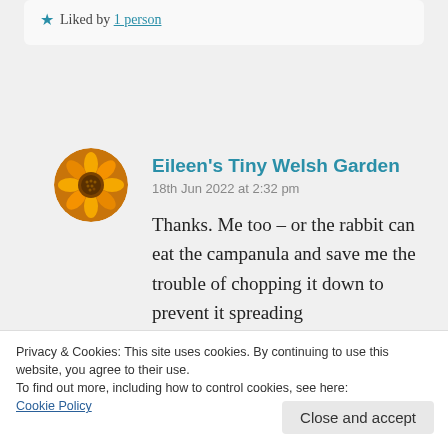★ Liked by 1 person
[Figure (photo): Circular avatar photo of an orange/yellow marigold flower]
Eileen's Tiny Welsh Garden
18th Jun 2022 at 2:32 pm

Thanks. Me too – or the rabbit can eat the campanula and save me the trouble of chopping it down to prevent it spreading
Privacy & Cookies: This site uses cookies. By continuing to use this website, you agree to their use.
To find out more, including how to control cookies, see here:
Cookie Policy
Close and accept